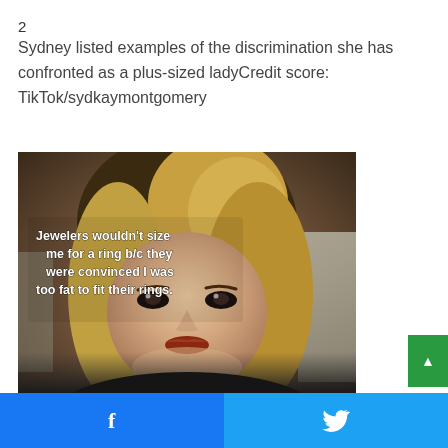2
Sydney listed examples of the discrimination she has confronted as a plus-sized ladyCredit score: TikTok/sydkaymontgomery
[Figure (screenshot): TikTok video screenshot showing a plus-sized woman with blonde hair and red lipstick. On-screen text reads: Jewelers wouldn't size me for a ring b/c they were convinced I was too fat to fit their rings.]
Facebook share button | Twitter share button